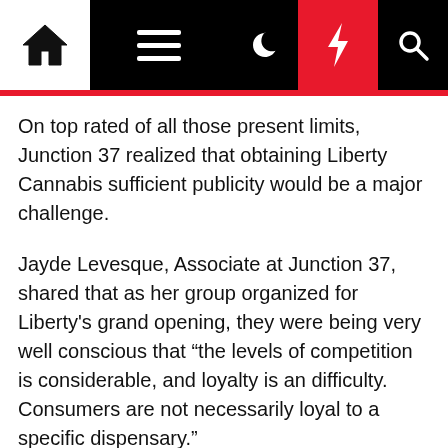[Navigation bar with home, menu, moon, lightning, search icons]
On top rated of all those present limits, Junction 37 realized that obtaining Liberty Cannabis sufficient publicity would be a major challenge.
Jayde Levesque, Associate at Junction 37, shared that as her group organized for Liberty's grand opening, they were being very well conscious that “the levels of competition is considerable, and loyalty is an difficulty. Consumers are not necessarily loyal to a specific dispensary.”
One more obstacle? Buyers want usefulness. They’re most likely to go to the nearest dispensary, so it’s all about advertising hyper-locally.
Junction 37 realized they necessary to function with a companion that could assistance them attractiveness to shoppers in the region.